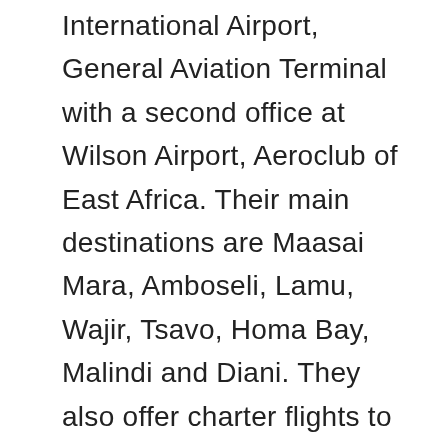airline's main office is located at Jkia International Airport, General Aviation Terminal with a second office at Wilson Airport, Aeroclub of East Africa. Their main destinations are Maasai Mara, Amboseli, Lamu, Wajir, Tsavo, Homa Bay, Malindi and Diani. They also offer charter flights to East and Central Africa.
Contact: +254-733-601753 / +254-723-206929